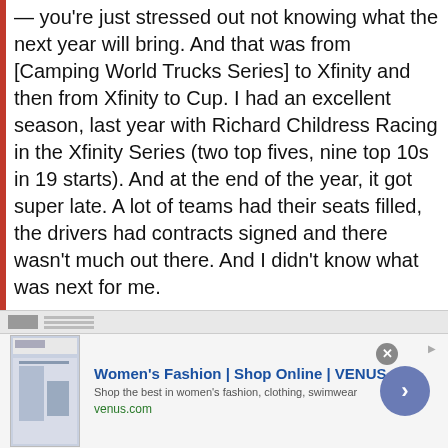— you're just stressed out not knowing what the next year will bring. And that was from [Camping World Trucks Series] to Xfinity and then from Xfinity to Cup. I had an excellent season, last year with Richard Childress Racing in the Xfinity Series (two top fives, nine top 10s in 19 starts). And at the end of the year, it got super late. A lot of teams had their seats filled, the drivers had contracts signed and there wasn't much out there. And I didn't know what was next for me.
And this amazing opportunity with Front Row Motorsports to advance to the Cup
[Figure (other): Advertisement banner for Women's Fashion | Shop Online | VENUS. Shows a fashion website thumbnail on left, ad title in blue, subtitle text 'Shop the best in women's fashion, clothing, swimwear', URL venus.com in green, close button, and arrow button on right.]